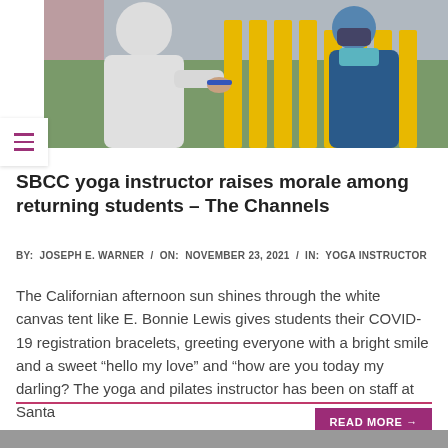[Figure (photo): Outdoor scene at a stadium/athletic field. A person in a blue jacket and mask hands something to another person in a white hoodie near yellow barriers.]
SBCC yoga instructor raises morale among returning students – The Channels
BY:  JOSEPH E. WARNER  /  ON:  NOVEMBER 23, 2021  /  IN:  YOGA INSTRUCTOR
The Californian afternoon sun shines through the white canvas tent like E. Bonnie Lewis gives students their COVID-19 registration bracelets, greeting everyone with a bright smile and a sweet “hello my love” and “how are you today my darling? The yoga and pilates instructor has been on staff at Santa
[Figure (photo): Bottom partial photo, cropped.]